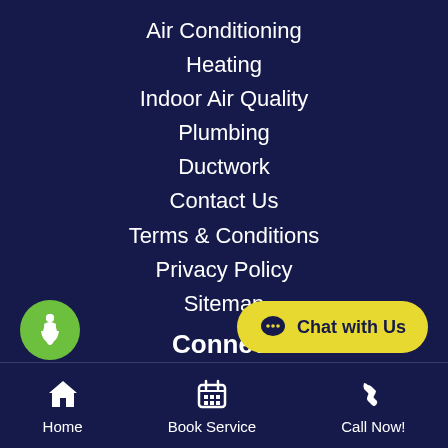Air Conditioning
Heating
Indoor Air Quality
Plumbing
Ductwork
Contact Us
Terms & Conditions
Privacy Policy
Sitemap
Connect
About Us
Reviews
Guarantees
[Figure (illustration): Accessibility icon - green circle with white wheelchair user symbol]
[Figure (illustration): Chat with Us button - yellow rounded button with speech bubble icon]
Home | Book Service | Call Now!